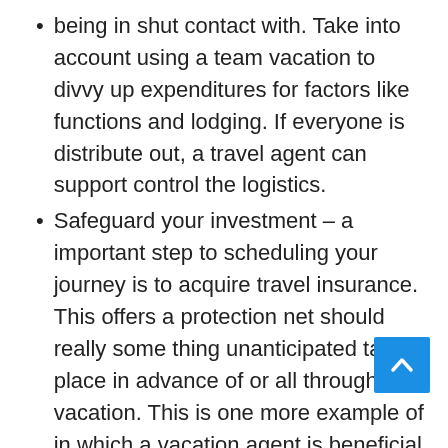being in shut contact with. Take into account using a team vacation to divvy up expenditures for factors like functions and lodging. If everyone is distribute out, a travel agent can support control the logistics.
Safeguard your investment – a important step to scheduling your journey is to acquire travel insurance. This offers a protection net should really some thing unanticipated take place in advance of or all through your vacation. This is one more example of in which a vacation agent is beneficial. They know you, your trip, your spending plan and your particular desires and can stroll you by what journey insurance policy plan makes the most sense.
Best Destinations consist of Significant Cities and...